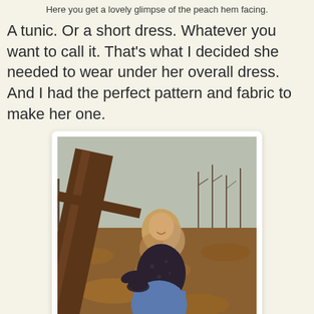Here you get a lovely glimpse of the peach hem facing.
A tunic. Or a short dress. Whatever you want to call it. That's what I decided she needed to wear under her overall dress. And I had the perfect pattern and fabric to make her one.
[Figure (photo): A smiling young woman with long wavy blonde hair wearing a dark floral top and blue overall dress/skirt, standing outdoors near a wooden structure with bare trees and fallen autumn leaves in the background.]